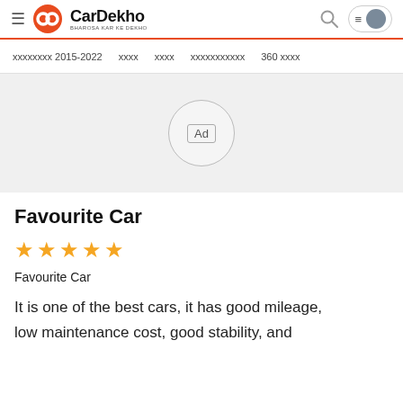CarDekho - BHAROSA KAR KE DEKHO
xxxxxxxx 2015-2022   xxxx   xxxx   xxxxxxxxxxx   360 xxxx
[Figure (other): Advertisement placeholder circle with 'Ad' label]
Favourite Car
★★★★★
Favourite Car
It is one of the best cars, it has good mileage, low maintenance cost, good stability, and